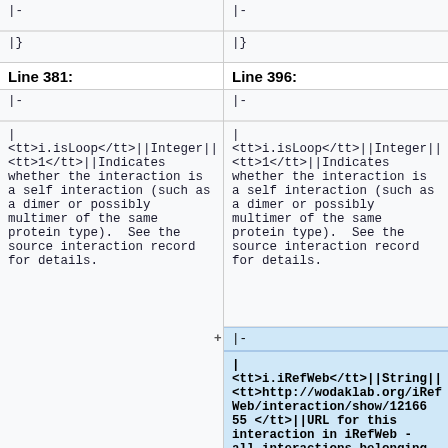| |- | |- |
| |} | |} |
Line 381:
Line 396:
| |- | |- |
| | <tt>i.isLoop</tt>||Integer||<tt>1</tt>||Indicates whether the interaction is a self interaction (such as a dimer or possibly multimer of the same protein type).  See the source interaction record for details. | | <tt>i.isLoop</tt>||Integer||<tt>1</tt>||Indicates whether the interaction is a self interaction (such as a dimer or possibly multimer of the same protein type).  See the source interaction record for details. |
| +|- |  |
|  | + | <tt>i.iRefWeb</tt>||String||<tt>http://wodaklab.org/iRefWeb/interaction/show/121665 </tt>||URL for this interaction in iRefWeb - all interactions belonging to the same canonical group of interactions will be listed |